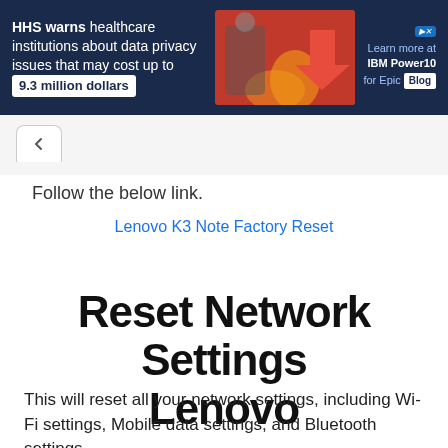[Figure (other): Advertisement banner: HHS warns healthcare institutions about data privacy issues that may cost up to 9.3 million dollars. Learn more at IBM Power10 for Epic Blog.]
Follow the below link.
Lenovo K3 Note Factory Reset
Reset Network Settings Lenovo
This will reset all your network settings, including Wi-Fi settings, Mobile data settings, and Bluetooth settings.